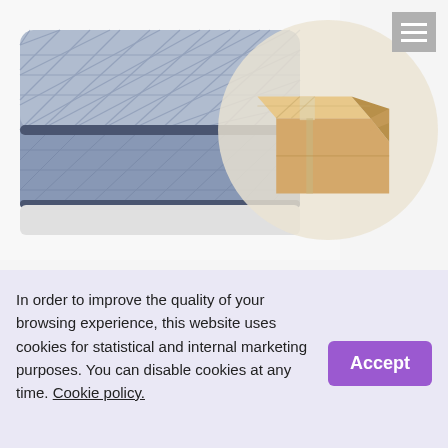[Figure (illustration): A grey quilted mattress in the left portion, with a large semi-transparent circle overlay on the right showing a cardboard shipping box. A hamburger menu icon button is in the top-right corner.]
In order to improve the quality of your browsing experience, this website uses cookies for statistical and internal marketing purposes. You can disable cookies at any time. Cookie policy.
> Send in a new corrugated cardboard box.
> Do not use a box that is too big for your item(-s) due